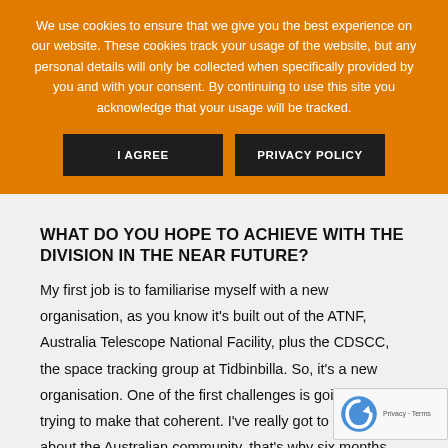We use cookies to ensure that we give you the best experience on our website. These cookies track your usage of the website, but any personal details will only be collected when specifically provided by you and with your consent. By continuing to use this site you acknowledge that your usage will be tracked.
I AGREE
PRIVACY POLICY
WHAT DO YOU HOPE TO ACHIEVE WITH THE DIVISION IN THE NEAR FUTURE?
My first job is to familiarise myself with a new organisation, as you know it's built out of the ATNF, Australia Telescope National Facility, plus the CDSCC, the space tracking group at Tidbinbilla. So, it's a new organisation. One of the first challenges is going to be trying to make that coherent. I've really got to learn more about the Australian community, that's why six months here in Perth has been invaluable, for starting that process.
The main job is to help deliver the delivery of ASKAP...